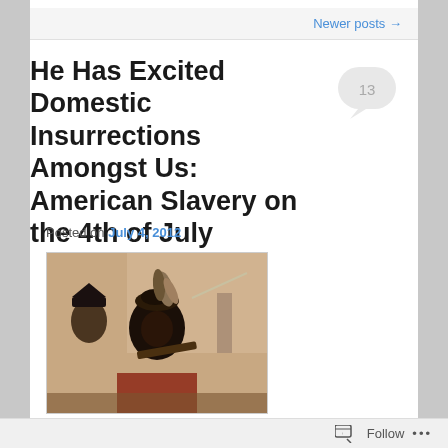Newer posts →
He Has Excited Domestic Insurrections Amongst Us: American Slavery on the 4th of July
Posted on July 4, 2012
[Figure (photo): Historical painting showing figures in 18th century military dress, one with a feathered hat holding a musket]
Follow ...